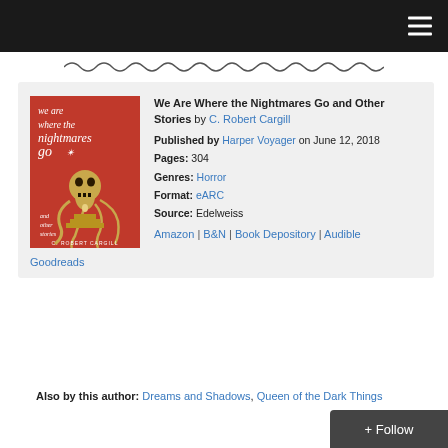[Figure (other): Dark navigation bar with hamburger menu icon on the right]
[Figure (illustration): Decorative squiggly line divider]
[Figure (photo): Book cover of 'We Are Where the Nightmares Go and Other Stories' by C. Robert Cargill, red background with skull and tentacles illustration]
We Are Where the Nightmares Go and Other Stories by C. Robert Cargill Published by Harper Voyager on June 12, 2018 Pages: 304 Genres: Horror Format: eARC Source: Edelweiss Amazon | B&N | Book Depository | Audible
Goodreads
Also by this author: Dreams and Shadows, Queen of the Dark Things